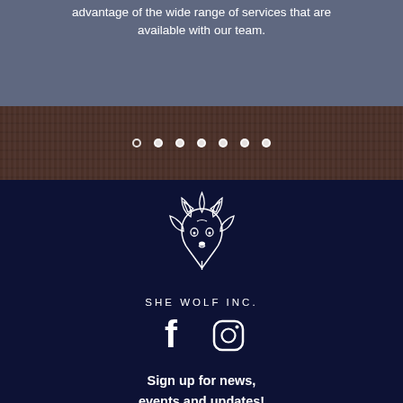advantage of the wide range of services that are available with our team.
[Figure (infographic): Carousel navigation dots — 7 dots, first one is open circle (outline), rest are filled white circles, on a dark wood-textured background]
[Figure (logo): She Wolf Inc. wolf head logo in white outline style on dark navy background]
SHE WOLF INC.
[Figure (infographic): Facebook and Instagram social media icons in white on dark navy background]
Sign up for news, events and updates!